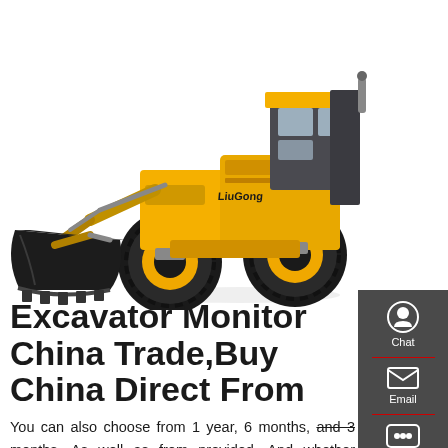[Figure (photo): Yellow LiuGong wheel loader/excavator with large black bucket attachment, photographed on white background]
Excavator Monitor China Trade,Buy China Direct From
You can also choose from 1 year, 6 months, and 3 months. As well as from provided. And whether excavator monitor is united states, or brazil. There are 13,777 excavator monitor suppliers, mainly located in Asia. The top supplying country or region is China, which supply of excavator monitor